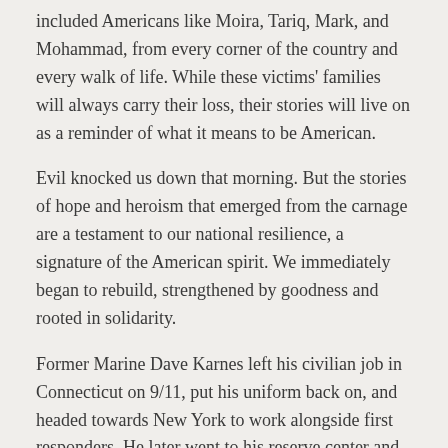included Americans like Moira, Tariq, Mark, and Mohammad, from every corner of the country and every walk of life. While these victims' families will always carry their loss, their stories will live on as a reminder of what it means to be American.
Evil knocked us down that morning. But the stories of hope and heroism that emerged from the carnage are a testament to our national resilience, a signature of the American spirit. We immediately began to rebuild, strengthened by goodness and rooted in solidarity.
Former Marine Dave Karnes left his civilian job in Connecticut on 9/11, put his uniform back on, and headed towards New York to work alongside first responders. He later went to his reserve center and reenlisted, and would serve two tours in Iraq. Many others like him stepped up to serve, whether in the military, the State Department, or in nonprofits.
But as we mourned in the days following 9/11—in the grocery store, on the school bus, at football games—we also walked with unease, the comfort of our daily routines consulted. And for some, with an almost bitter resentment